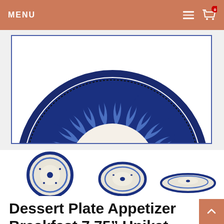MENU
[Figure (photo): Main product image showing a decorative blue and white Polish pottery dessert plate with intricate leaf/feather pattern, partially cropped at top, inside a blue-bordered white frame]
[Figure (photo): Three thumbnail images of the same blue and white decorative pottery dessert plate shown at different angles — front view, slightly angled, and side/flat view]
Dessert Plate Appetizer Breakfast 7.75" Unikat
$38.00
Unikat U3